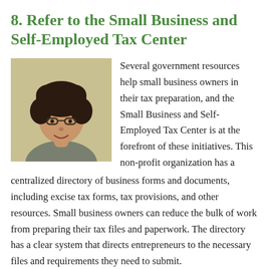8. Refer to the Small Business and Self-Employed Tax Center
[Figure (photo): Portrait photo of a woman with curly hair and glasses, smiling, wearing a gray top]
Several government resources help small business owners in their tax preparation, and the Small Business and Self-Employed Tax Center is at the forefront of these initiatives. This non-profit organization has a centralized directory of business forms and documents, including excise tax forms, tax provisions, and other resources. Small business owners can reduce the bulk of work from preparing their tax files and paperwork. The directory has a clear system that directs entrepreneurs to the necessary files and requirements they need to submit.